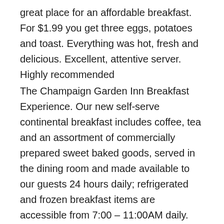great place for an affordable breakfast. For $1.99 you get three eggs, potatoes and toast. Everything was hot, fresh and delicious. Excellent, attentive server. Highly recommended
The Champaign Garden Inn Breakfast Experience. Our new self-serve continental breakfast includes coffee, tea and an assortment of commercially prepared sweet baked goods, served in the dining room and made available to our guests 24 hours daily; refrigerated and frozen breakfast items are accessible from 7:00 – 11:00AM daily. You can have a seat in the dining room, take your breakfast to. iStock Enjoying Breakfast In The Garden Stock Photo - Download Image Now Download this Enjoying Breakfast In The Garden photo now. And search more of iStock's library of royalty-free stock images that